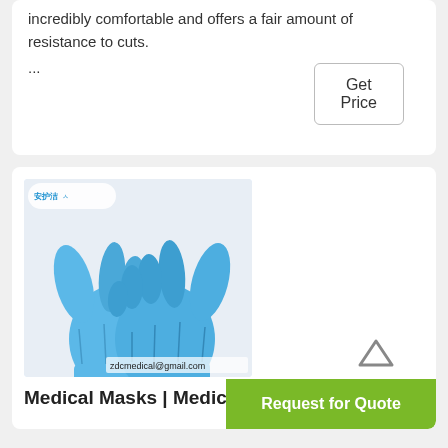incredibly comfortable and offers a fair amount of resistance to cuts.
...
Get Price
[Figure (photo): Two hands wearing blue nitrile gloves giving thumbs up, with Chinese brand logo (安护洁) top-left and email zdcmedical@gmail.com watermark at bottom.]
Medical Masks | Medic...
Request for Quote